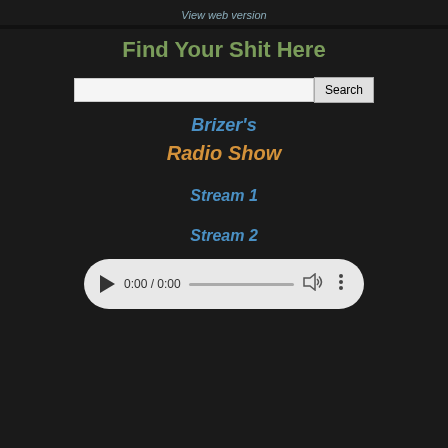View web version
Find Your Shit Here
[Figure (other): Search input box with Search button]
Brizer's
Radio Show
Stream 1
Stream 2
[Figure (other): Audio player widget showing 0:00 / 0:00 with play button, progress bar, volume and more icons]